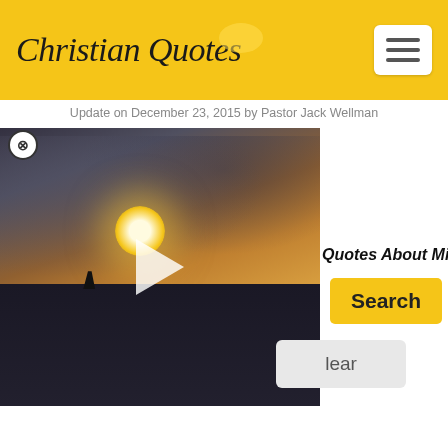Christian Quotes
Update on December 23, 2015 by Pastor Jack Wellman
[Figure (screenshot): Video player showing a ship on a glowing sunset ocean scene with a play button overlay]
Quotes About Missions
[Figure (other): Search button (yellow) and Clear button (gray)]
Every Christian is either a missionary or an impostor.
- Charles Spurgeon